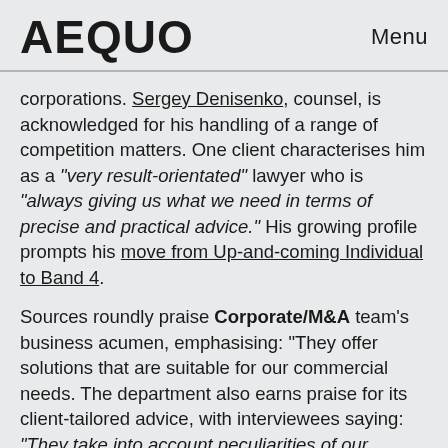AEQUO   Menu
corporations. Sergey Denisenko, counsel, is acknowledged for his handling of a range of competition matters. One client characterises him as a "very result-orientated" lawyer who is "always giving us what we need in terms of precise and practical advice." His growing profile prompts his move from Up-and-coming Individual to Band 4.
Sources roundly praise Corporate/M&A team's business acumen, emphasising: "They offer solutions that are suitable for our commercial needs. The department also earns praise for its client-tailored advice, with interviewees saying: "They take into account peculiarities of our company. They offer very individualised approach towards client needs." Partner, practice head Anna Babych is held in high esteem for her transactional M&A practice and is also adept at handling corporate governance matters. Clients value